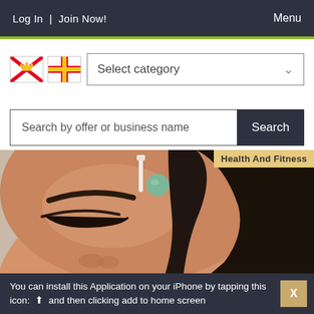Log In  |  Join Now!    Menu
Select category
Search by offer or business name   Search
[Figure (photo): Close-up photo of a woman receiving a facial treatment, eyes closed, with beauty tools on her forehead, against a marble background. A tag reading 'Health And Fitness' appears in the top right corner.]
You can install this Application on your iPhone by tapping this icon: and then clicking add to home screen